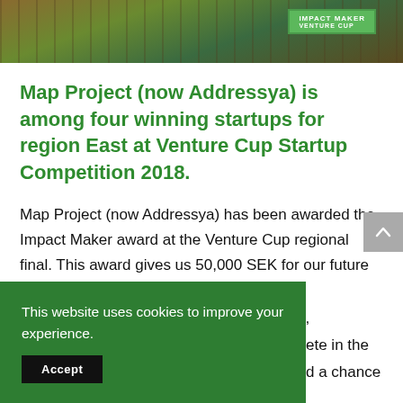[Figure (photo): Top portion of a photo showing people at what appears to be a Venture Cup competition event, with a green sign visible in the background reading 'IMPACT MAKER VENTURE CUP']
Map Project (now Addressya) is among four winning startups for region East at Venture Cup Startup Competition 2018.
Map Project (now Addressya) has been awarded the Impact Maker award at the Venture Cup regional final. This award gives us 50,000 SEK for our future development, [obscured by cookie banner] ete in the [obscured] d a chance to win the national title Startup of the Year
This website uses cookies to improve your experience.
Accept